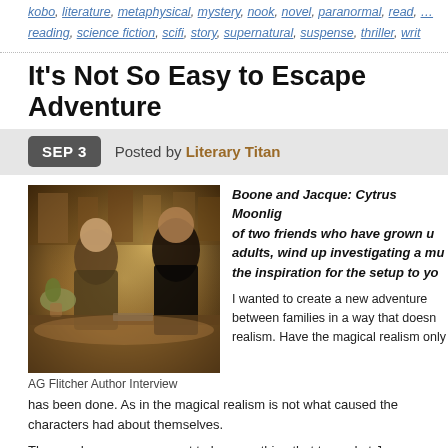goodreads, INTO THE STORM, INTO THE STORM: Aliens Among Us, kobo, literature, metaphysical, mystery, nook, novel, paranormal, read, reading, science fiction, scifi, story, supernatural, suspense, thriller, writ
It's Not So Easy to Escape Adventure
SEP 3  Posted by Literary Titan
[Figure (photo): People sitting at a cafe or bookstore table, soft warm lighting, indoor setting]
AG Flitcher Author Interview
Boone and Jacque: Cytrus Moonlig of two friends who have grown u adults, wind up investigating a mu the inspiration for the setup to yo
I wanted to create a new adventure between families in a way that doesn realism. Have the magical realism only has been done. As in the magical realism is not what caused the characters had about themselves.
The murder case was meant to be something that tugged at Ja feeding his need to solve a mystery. In addition, corner Boone and